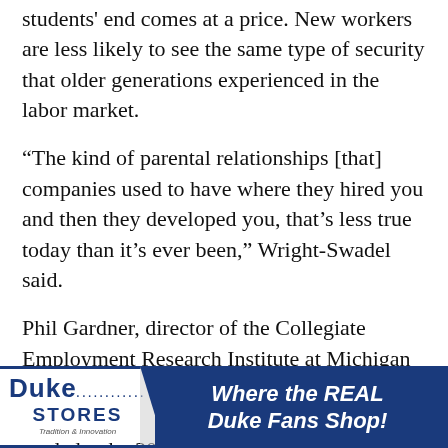students' end comes at a price. New workers are less likely to see the same type of security that older generations experienced in the labor market.
“The kind of parental relationships [that] companies used to have where they hired you and then they developed you, that’s less true today than it’s ever been,” Wright-Swadel said.
Phil Gardner, director of the Collegiate Employment Research Institute at Michigan State University, added that companies are no longer as loyal to their workers as they tended to be 30 years ago.
“Anyone under the age of 35 better get used to this,” Gardner said. “They’re not going to get loyalty back.”
Reinve
[Figure (illustration): Duke Stores advertisement banner with logo on left and 'Where the REAL Duke Fans Shop!' text on dark blue background on right]